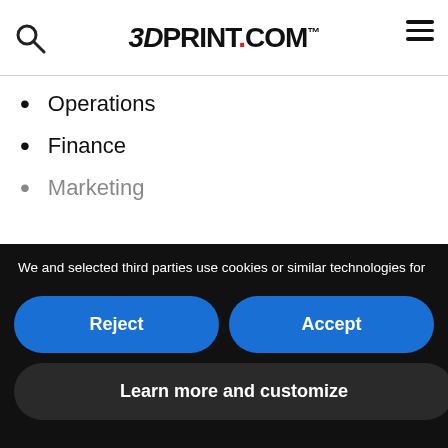3DPrint.com
Operations
Finance
Marketing
We and selected third parties use cookies or similar technologies for technical purposes and, with your consent, for other purposes as specified in the cookie policy. Denying consent may make related features unavailable.
In case of sale of your personal information, you may opt out by using the link "Do Not Sell My Personal Information".
To find out more about the categories of personal information collected and the purposes for which such information will be used, please refer to our privacy policy.
You can consent to the use of such technologies by using the "Accept" button, by scrolling this page, by interacting with any link or button outside of this notice or by continuing to browse otherwise.